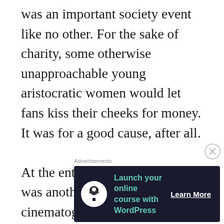was an important society event like no other. For the sake of charity, some otherwise unapproachable young aristocratic women would let fans kiss their cheeks for money. It was for a good cause, after all.

At the entrance to the bazaar was another draw—a cinematograph playing short films. It ran on ether
Advertisements
[Figure (other): Advertisement banner with dark background showing 'Launch your online course with WordPress' with a Learn More button and a tree/person icon.]